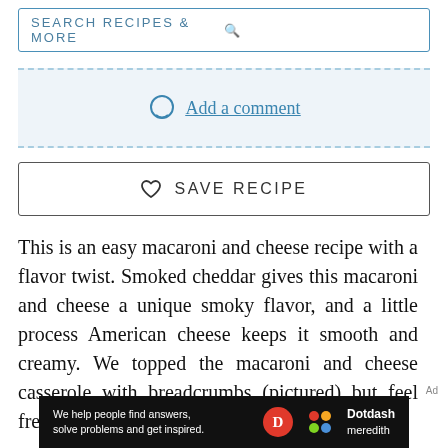SEARCH RECIPES & MORE
Add a comment
SAVE RECIPE
This is an easy macaroni and cheese recipe with a flavor twist. Smoked cheddar gives this macaroni and cheese a unique smoky flavor, and a little process American cheese keeps it smooth and creamy. We topped the macaroni and cheese casserole with breadcrumbs (pictured) but feel free to omit the topping or top it with
[Figure (other): Dotdash Meredith advertisement banner: 'We help people find answers, solve problems and get inspired.']